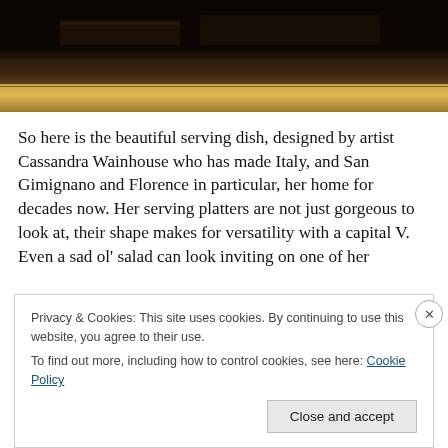[Figure (photo): Dark photo of a shelf or counter surface with warm golden/amber tones, appearing to be a kitchen or restaurant interior]
So here is the beautiful serving dish, designed by artist Cassandra Wainhouse who has made Italy, and San Gimignano and Florence in particular, her home for decades now. Her serving platters are not just gorgeous to look at, their shape makes for versatility with a capital V. Even a sad ol' salad can look inviting on one of her
Privacy & Cookies: This site uses cookies. By continuing to use this website, you agree to their use.
To find out more, including how to control cookies, see here: Cookie Policy
Close and accept